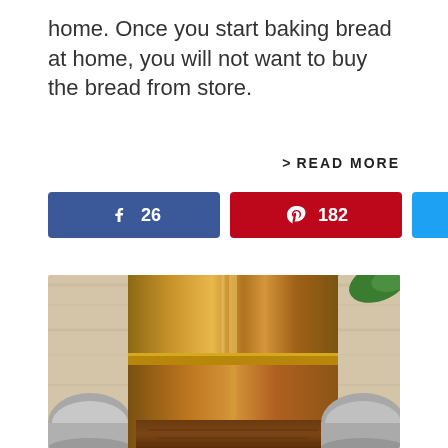home. Once you start baking bread at home, you will not want to buy the bread from store.
> READ MORE
Facebook 26  Pinterest 182  Twitter  < 208 SHARES
[Figure (photo): Close-up photo of a cylindrical metal (bronze/copper-toned) bread tin or container with baked bread visible at the bottom, placed on a wooden surface with small silver containers on the sides and green leaves in the top right corner.]